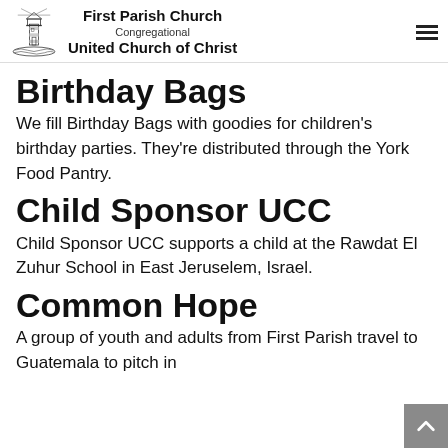First Parish Church Congregational United Church of Christ
Birthday Bags
We fill Birthday Bags with goodies for children's birthday parties. They're distributed through the York Food Pantry.
Child Sponsor UCC
Child Sponsor UCC supports a child at the Rawdat El Zuhur School in East Jeruselem, Israel.
Common Hope
A group of youth and adults from First Parish travel to Guatemala to pitch in...